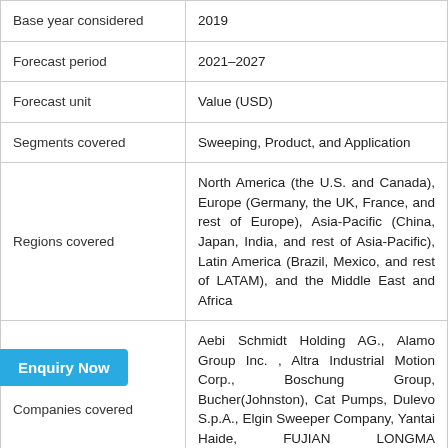|  |  |
| --- | --- |
| Base year considered | 2019 |
| Forecast period | 2021–2027 |
| Forecast unit | Value (USD) |
| Segments covered | Sweeping, Product, and Application |
| Regions covered | North America (the U.S. and Canada), Europe (Germany, the UK, France, and rest of Europe), Asia-Pacific (China, Japan, India, and rest of Asia-Pacific), Latin America (Brazil, Mexico, and rest of LATAM), and the Middle East and Africa |
| Companies covered | Aebi Schmidt Holding AG., Alamo Group Inc. , Altra Industrial Motion Corp., Boschung Group, Bucher(Johnston), Cat Pumps, Dulevo S.p.A., Elgin Sweeper Company, Yantai Haide, FUJIAN LONGMA ENVIRONMENTAL SANITATION EQUIPMENT |
Enquiry Now